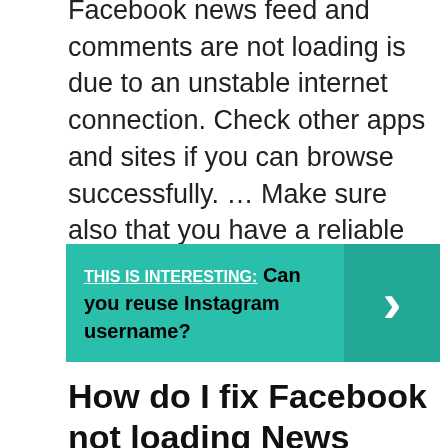Facebook news feed and comments are not loading is due to an unstable internet connection. Check other apps and sites if you can browse successfully. … Make sure also that you have a reliable and stable internet connection. Restart your modem or router.
[Figure (infographic): Teal banner with label 'THIS IS INTERESTING:' in white underlined bold text, followed by bold black text 'Can you reuse Instagram username?' and a right-arrow chevron on the right side.]
How do I fix Facebook not loading News Feed?
How can I fix the news feed problems on Facebook?